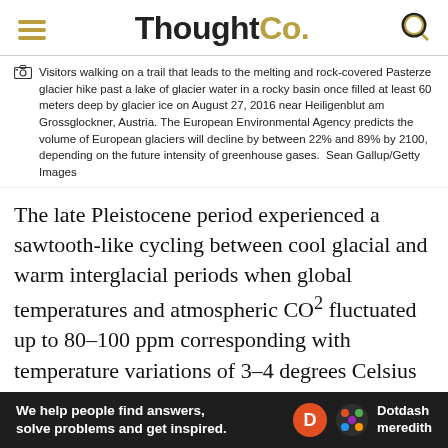ThoughtCo.
Visitors walking on a trail that leads to the melting and rock-covered Pasterze glacier hike past a lake of glacier water in a rocky basin once filled at least 60 meters deep by glacier ice on August 27, 2016 near Heiligenblut am Grossglockner, Austria. The European Environmental Agency predicts the volume of European glaciers will decline by between 22% and 89% by 2100, depending on the future intensity of greenhouse gases. Sean Gallup/Getty Images
The late Pleistocene period experienced a sawtooth-like cycling between cool glacial and warm interglacial periods when global temperatures and atmospheric CO² fluctuated up to 80–100 ppm corresponding with temperature variations of 3–4 degrees Celsius (5.4–7.2 degrees Fahrenheit): increases in atmospheric CO² preceded decreases in global ice mass. The ocean stores carbon (called carbon sequestration) when the ice is low, and so the net influx of